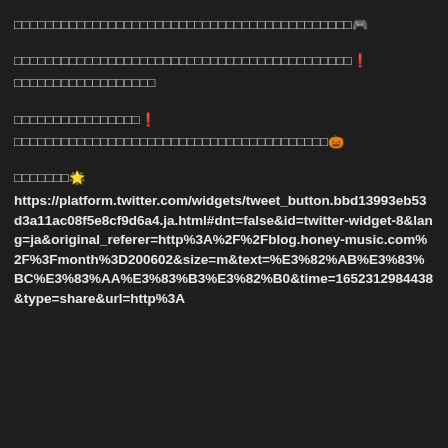□□□□□□□□□□□□□□□□□□□□□□□□□□□□□□□□□□□□□□□□□□□🎮
□□□□□□□□□□□□□□□□□□□□□□□□□□□□□□□□□□□□□□□□□□□❗
□□□□□□□□□□□□□□□□□□
□□□□□□□□□□□□□□□□❗
□□□□□□□□□□□□□□□□□□□□□□□□□□□□□□□□□□□□□□□□🎃
□□□□□□□🌟
https://platform.twitter.com/widgets/tweet_button.bbd13993eb53d3a11ac08f5e8cf9d6a4.ja.html#dnt=false&id=twitter-widget-8&lang=ja&original_referer=http%3A%2F%2Fblog.honey-music.com%2F%3Fmonth%3D200602&size=m&text=%E3%82%AB%E3%83%BC%E3%83%AA%E3%83%B3%E3%82%B0&time=1652312984438&type=share&url=http%3A